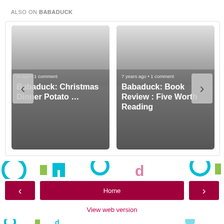ALSO ON BABADUCK
[Figure (screenshot): Two article cards: left card shows 'Babaduck: Christmas Dinner Potato ...' with metadata 'rs ago • 1 comment'; right card shows 'Babaduck: Book Review : Five Worth Reading' with metadata '7 years ago • 1 comment'. Navigation chevrons on left and right sides.]
[Figure (illustration): Decorative colorful band with teal, green, and pink abstract shapes/letters]
‹
Home
›
View web version
[Figure (illustration): Decorative colorful band bottom strip]